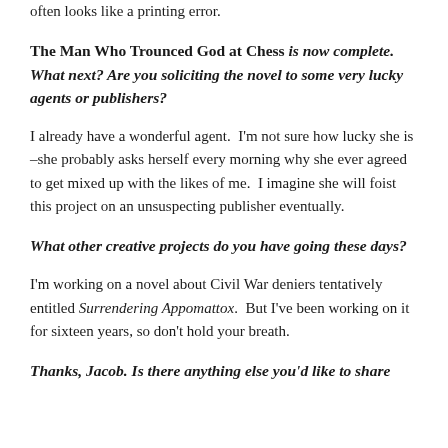often looks like a printing error.
The Man Who Trounced God at Chess is now complete. What next? Are you soliciting the novel to some very lucky agents or publishers?
I already have a wonderful agent.  I'm not sure how lucky she is –she probably asks herself every morning why she ever agreed to get mixed up with the likes of me.  I imagine she will foist this project on an unsuspecting publisher eventually.
What other creative projects do you have going these days?
I'm working on a novel about Civil War deniers tentatively entitled Surrendering Appomattox.  But I've been working on it for sixteen years, so don't hold your breath.
Thanks, Jacob. Is there anything else you'd like to share